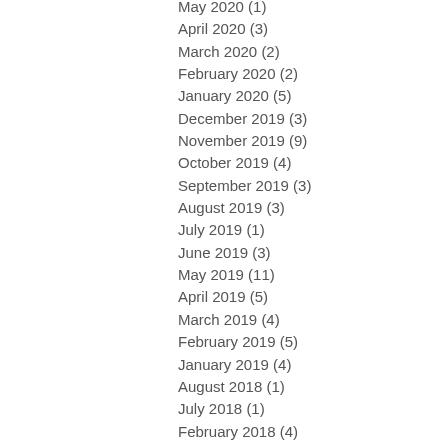May 2020 (1)
April 2020 (3)
March 2020 (2)
February 2020 (2)
January 2020 (5)
December 2019 (3)
November 2019 (9)
October 2019 (4)
September 2019 (3)
August 2019 (3)
July 2019 (1)
June 2019 (3)
May 2019 (11)
April 2019 (5)
March 2019 (4)
February 2019 (5)
January 2019 (4)
August 2018 (1)
July 2018 (1)
February 2018 (4)
January 2018 (1)
December 2017 (1)
October 2017 (1)
September 2017 (1)
July 2017 (9)
June 2017 (6)